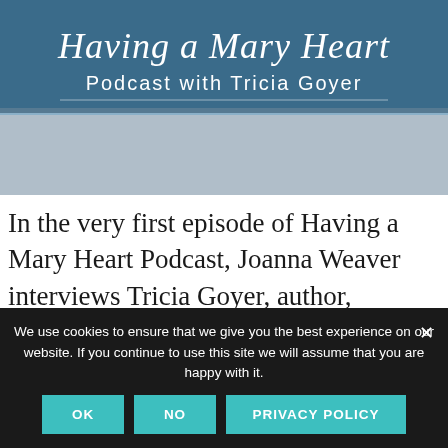[Figure (illustration): Podcast banner image with script text 'Having a Mary Heart' and subtitle 'Podcast with Tricia Goyer' on a blue/teal background with wood texture]
In the very first episode of Having a Mary Heart Podcast, Joanna Weaver interviews Tricia Goyer, author, speaker and mom of ten kids! In this video, Tricia shares ‘5 Tips for Cultivating a Quiet Heart in the Middle of a Crazy, Busy Life!’ Check out the audio
We use cookies to ensure that we give you the best experience on our website. If you continue to use this site we will assume that you are happy with it.
OK | NO | PRIVACY POLICY